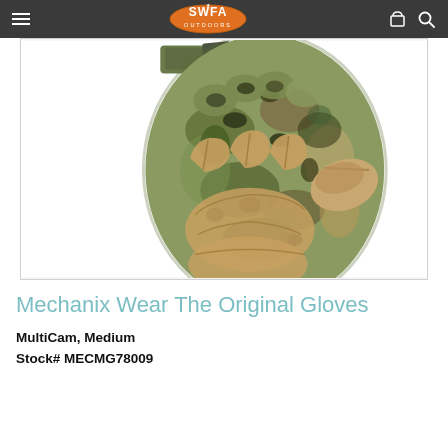SWFA Outdoors navigation bar with hamburger menu, logo, cart and search icons
[Figure (photo): Close-up photo of a Mechanix Wear Original Glove in MultiCam camouflage pattern showing the palm/back side of the glove with tan leather palm patches and multicam fabric on the back, fingers curled slightly]
Mechanix Wear The Original Gloves
MultiCam,  Medium
Stock# MECMG78009